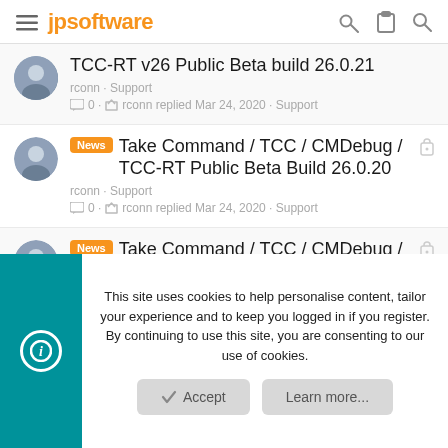≡ jpsoftware [icons: key, clipboard, search]
TCC-RT v26 Public Beta build 26.0.21
rconn · Support
0 · rconn replied Mar 24, 2020 · Support
News Take Command / TCC / CMDebug / TCC-RT Public Beta Build 26.0.20
rconn · Support
0 · rconn replied Mar 24, 2020 · Support
News Take Command / TCC / CMDebug / TCC-RT v25 Build 9
rconn · Support
This site uses cookies to help personalise content, tailor your experience and to keep you logged in if you register.
By continuing to use this site, you are consenting to our use of cookies.